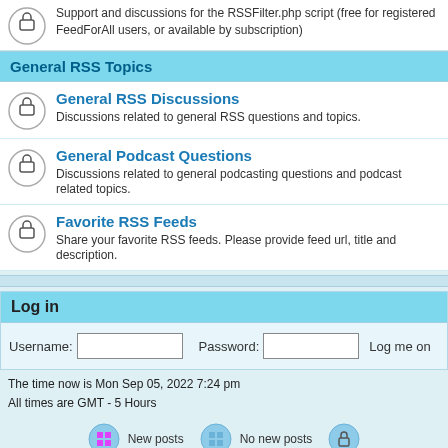Support and discussions for the RSSFilter.php script (free for registered FeedForAll users, or available by subscription)
General RSS Topics
General RSS Discussions
Discussions related to general RSS questions and topics.
General Podcast Questions
Discussions related to general podcasting questions and podcast related topics.
Favorite RSS Feeds
Share your favorite RSS feeds. Please provide feed url, title and description.
Log in
Username:
Password:
Log me on
The time now is Mon Sep 05, 2022 7:24 pm
All times are GMT - 5 Hours
New posts
No new posts
Powered by phpBB © 2001, 2002 phpBB Group